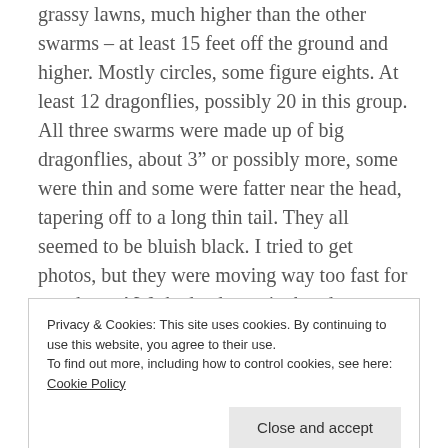grassy lawns, much higher than the other swarms – at least 15 feet off the ground and higher. Mostly circles, some figure eights. At least 12 dragonflies, possibly 20 in this group. All three swarms were made up of big dragonflies, about 3" or possibly more, some were thin and some were fatter near the head, tapering off to a long thin tail. They all seemed to be bluish black. I tried to get photos, but they were moving way too fast for my shutter! We had a dramatic thunderstorm last night after a lot of hot days, and it is in the low 80s for
Privacy & Cookies: This site uses cookies. By continuing to use this website, you agree to their use.
To find out more, including how to control cookies, see here: Cookie Policy
flying in a swarm over her front yard, and at the